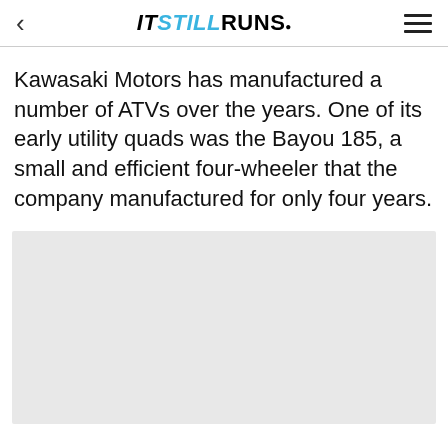IT STILL RUNS.
Kawasaki Motors has manufactured a number of ATVs over the years. One of its early utility quads was the Bayou 185, a small and efficient four-wheeler that the company manufactured for only four years.
[Figure (photo): Gray placeholder image area]